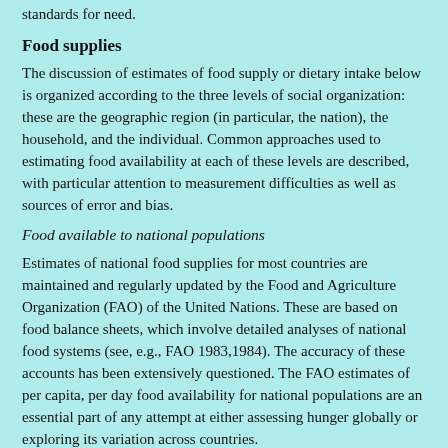standards for need.
Food supplies
The discussion of estimates of food supply or dietary intake below is organized according to the three levels of social organization: these are the geographic region (in particular, the nation), the household, and the individual. Common approaches used to estimating food availability at each of these levels are described, with particular attention to measurement difficulties as well as sources of error and bias.
Food available to national populations
Estimates of national food supplies for most countries are maintained and regularly updated by the Food and Agriculture Organization (FAO) of the United Nations. These are based on food balance sheets, which involve detailed analyses of national food systems (see, e.g., FAO 1983,1984). The accuracy of these accounts has been extensively questioned. The FAO estimates of per capita, per day food availability for national populations are an essential part of any attempt at either assessing hunger globally or exploring its variation across countries.
These estimates are obtained by first calculating the amounts of specific foods available for human consumption within the